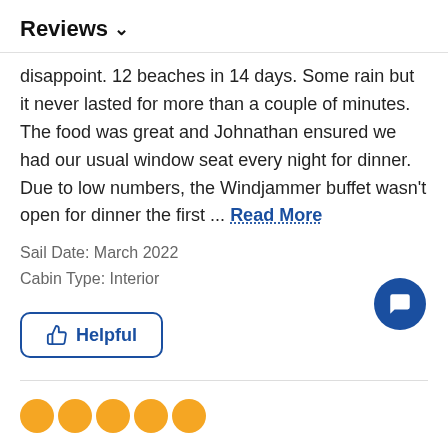Reviews ∨
disappoint. 12 beaches in 14 days. Some rain but it never lasted for more than a couple of minutes. The food was great and Johnathan ensured we had our usual window seat every night for dinner. Due to low numbers, the Windjammer buffet wasn't open for dinner the first ... Read More
Sail Date: March 2022
Cabin Type: Interior
👍 Helpful
[Figure (other): Five orange filled circle star rating dots]
considering its age we were on the whole very